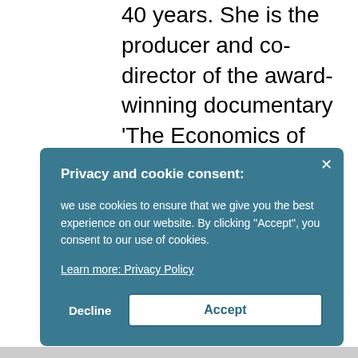40 years. She is the producer and co-director of the award-winning documentary 'The Economics of Happiness', and is the author of 'Local is Our Future' and 'Ancient Futures: Learning from Ladakh'. She was honored
Privacy and cookie consent:
we use cookies to ensure that we give you the best experience on our website. By clicking "Accept", you consent to our use of cookies.
Learn more: Privacy Policy
Decline
Accept